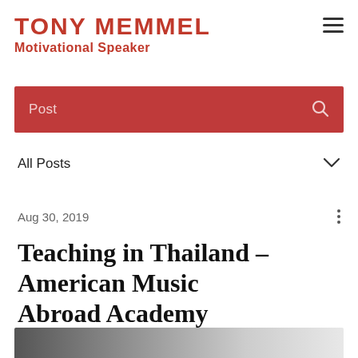TONY MEMMEL Motivational Speaker
Post
All Posts
Aug 30, 2019
Teaching in Thailand – American Music Abroad Academy
[Figure (photo): Partial photo strip at bottom of page, clipped]